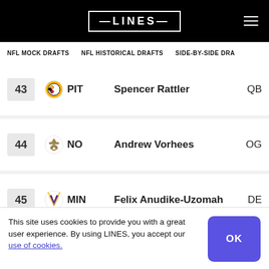LINES
NFL MOCK DRAFTS | NFL HISTORICAL DRAFTS | SIDE-BY-SIDE DRA
| Pick | Team | Player | Position |
| --- | --- | --- | --- |
| 43 | PIT | Spencer Rattler | QB |
| 44 | NO | Andrew Vorhees | OG |
| 45 | MIN | Felix Anudike-Uzomah | DE |
| 46 | NE | Zion Tupuola-Fetui | DE |
This site uses cookies to provide you with a great user experience. By using LINES, you accept our use of cookies.